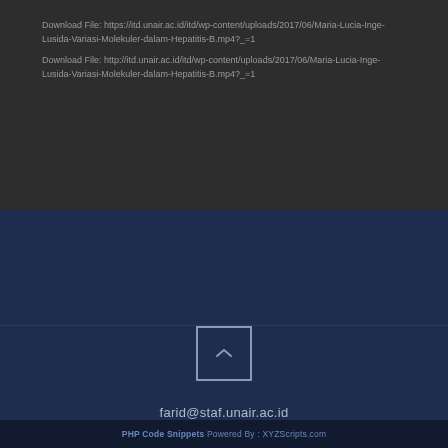Download File: https://itd.unair.ac.id/itd/wp-content/uploads/2017/06/Maria-Lucia-Inge-Lusida-Variasi-Molekuler-dalam-Hepatitis-B.mp4?_=1
Download File: http://itd.unair.ac.id/itd/wp-content/uploads/2017/06/Maria-Lucia-Inge-Lusida-Variasi-Molekuler-dalam-Hepatitis-B.mp4?_=1
farid@staf.unair.ac.id
PHP Code Snippets Powered By : XYZScripts.com